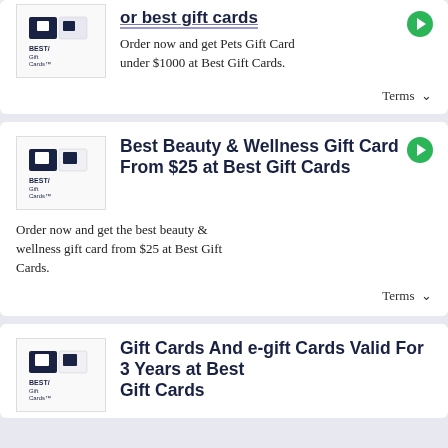[Figure (logo): Best Gift Cards logo]
Order now and get Pets Gift Card under $1000 at Best Gift Cards.
Terms ∨
[Figure (logo): Best Gift Cards logo]
Best Beauty & Wellness Gift Card From $25 at Best Gift Cards
Order now and get the best beauty & wellness gift card from $25 at Best Gift Cards.
Terms ∨
[Figure (logo): Best Gift Cards logo]
Gift Cards And e-gift Cards Valid For 3 Years at Best Gift Cards